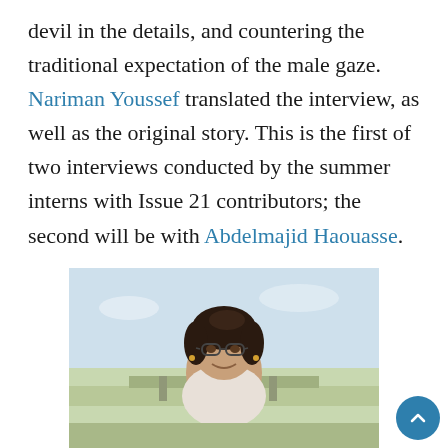devil in the details, and countering the traditional expectation of the male gaze. Nariman Youssef translated the interview, as well as the original story. This is the first of two interviews conducted by the summer interns with Issue 21 contributors; the second will be with Abdelmajid Haouasse.
[Figure (photo): A woman with dark shoulder-length hair and glasses, smiling, photographed outdoors with a blurred landscape background.]